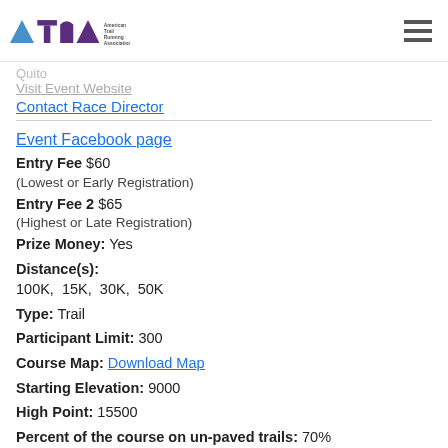American Trail Running Association logo and navigation
Quito
Visit Event Website
Contact Race Director
Event Facebook page
Entry Fee $60
(Lowest or Early Registration)
Entry Fee 2 $65
(Highest or Late Registration)
Prize Money: Yes
Distance(s): 100K, 15K, 30K, 50K
Type: Trail
Participant Limit: 300
Course Map: Download Map
Starting Elevation: 9000
High Point: 15500
Percent of the course on un-paved trails: 70%